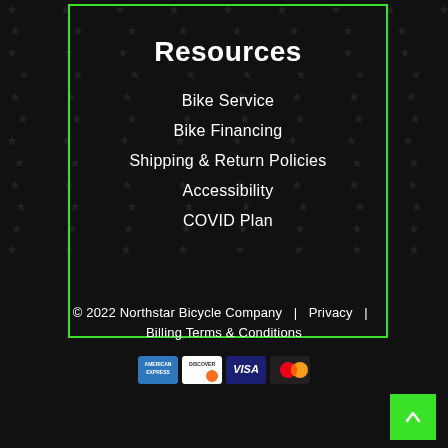Resources
Bike Service
Bike Financing
Shipping & Return Policies
Accessibility
COVID Plan
© 2022 Northstar Bicycle Company  |  Privacy  |  Billing Terms & Conditions
[Figure (other): Payment method icons: American Express, Discover, Visa, Mastercard]